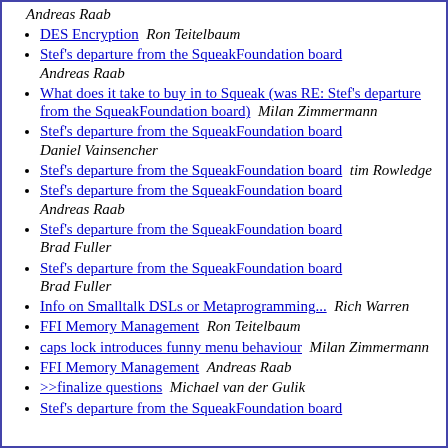Andreas Raab
DES Encryption  Ron Teitelbaum
Stef's departure from the SqueakFoundation board  Andreas Raab
What does it take to buy in to Squeak (was RE: Stef's departure from the SqueakFoundation board)  Milan Zimmermann
Stef's departure from the SqueakFoundation board  Daniel Vainsencher
Stef's departure from the SqueakFoundation board  tim Rowledge
Stef's departure from the SqueakFoundation board  Andreas Raab
Stef's departure from the SqueakFoundation board  Brad Fuller
Stef's departure from the SqueakFoundation board  Brad Fuller
Info on Smalltalk DSLs or Metaprogramming...  Rich Warren
FFI Memory Management  Ron Teitelbaum
caps lock introduces funny menu behaviour  Milan Zimmermann
FFI Memory Management  Andreas Raab
>>finalize questions  Michael van der Gulik
Stef's departure from the SqueakFoundation board